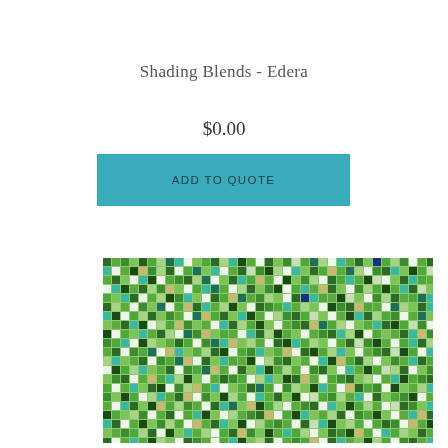Shading Blends - Edera
$0.00
ADD TO QUOTE
[Figure (photo): Mosaic tile pattern with green, teal, dark green, white, and tan colored square tiles arranged in a random blended pattern called Edera.]